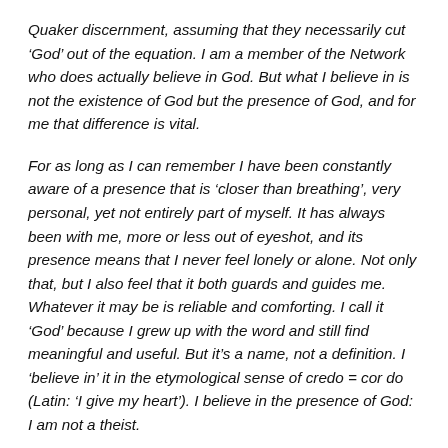Quaker discernment, assuming that they necessarily cut 'God' out of the equation. I am a member of the Network who does actually believe in God. But what I believe in is not the existence of God but the presence of God, and for me that difference is vital.
For as long as I can remember I have been constantly aware of a presence that is 'closer than breathing', very personal, yet not entirely part of myself. It has always been with me, more or less out of eyeshot, and its presence means that I never feel lonely or alone. Not only that, but I also feel that it both guards and guides me. Whatever it may be is reliable and comforting. I call it 'God' because I grew up with the word and still find meaningful and useful. But it's a name, not a definition. I 'believe in' it in the etymological sense of credo = cor do (Latin: 'I give my heart'). I believe in the presence of God: I am not a theist.